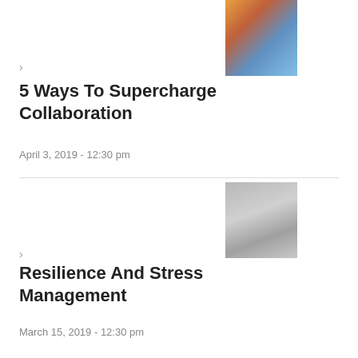[Figure (photo): Colorful pencils arranged in a circular pattern viewed from above]
5 Ways To Supercharge Collaboration
April 3, 2019 - 12:30 pm
[Figure (photo): Many white spherical balls/lightbulbs arranged together]
Resilience And Stress Management
March 15, 2019 - 12:30 pm
[Figure (photo): Group of people in formal attire, collage style]
The Brown Paper Bag Lunch